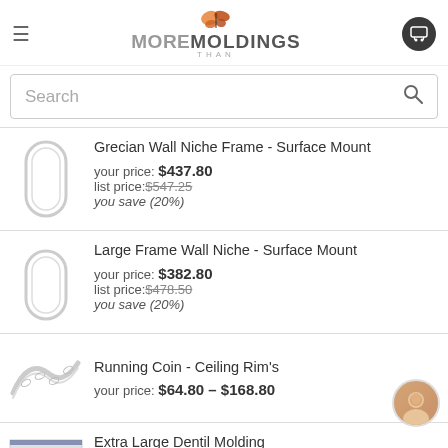More Than Moldings
Search
Grecian Wall Niche Frame - Surface Mount
your price: $437.80
list price: $547.25
you save (20%)
Large Frame Wall Niche - Surface Mount
your price: $382.80
list price: $478.50
you save (20%)
Running Coin - Ceiling Rim's
your price: $64.80 – $168.80
Extra Large Dentil Molding
your price: $108.00